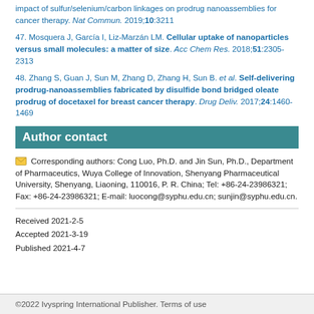impact of sulfur/selenium/carbon linkages on prodrug nanoassemblies for cancer therapy. Nat Commun. 2019;10:3211
47. Mosquera J, García I, Liz-Marzán LM. Cellular uptake of nanoparticles versus small molecules: a matter of size. Acc Chem Res. 2018;51:2305-2313
48. Zhang S, Guan J, Sun M, Zhang D, Zhang H, Sun B. et al. Self-delivering prodrug-nanoassemblies fabricated by disulfide bond bridged oleate prodrug of docetaxel for breast cancer therapy. Drug Deliv. 2017;24:1460-1469
Author contact
Corresponding authors: Cong Luo, Ph.D. and Jin Sun, Ph.D., Department of Pharmaceutics, Wuya College of Innovation, Shenyang Pharmaceutical University, Shenyang, Liaoning, 110016, P. R. China; Tel: +86-24-23986321; Fax: +86-24-23986321; E-mail: luocong@syphu.edu.cn; sunjin@syphu.edu.cn.
Received 2021-2-5
Accepted 2021-3-19
Published 2021-4-7
©2022 Ivyspring International Publisher. Terms of use